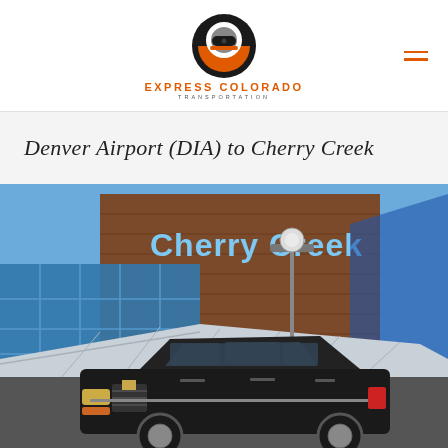[Figure (logo): Express Colorado Transportation logo: circular black and orange icon with 'ECT' stylized, above orange bold text 'EXPRESS COLORADO' and gray spaced text 'TRANSPORTATION']
Denver Airport (DIA) to Cherry Creek
[Figure (photo): Photo of Cherry Creek Shopping Center exterior with blue glass facade and 'Cherry Creek' signage, with a black Cadillac Escalade SUV in the foreground]